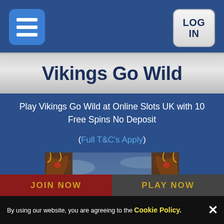[Figure (screenshot): Blue header bar with hamburger menu icon (three white bars on blue rounded square) on left and LOG IN button on grey rounded square on right]
Vikings Go Wild
Play Vikings Go Wild at Online Slots UK with 10 Free Spins No Deposit
(Full T&C's Apply)
[Figure (screenshot): Vikings Go Wild slot game promotional banner image showing the game logo with decorative Viking helmet dragons on sides]
JOIN NOW
PLAY NOW
By using our website, you are agreeing to the Cookie Policy. ×